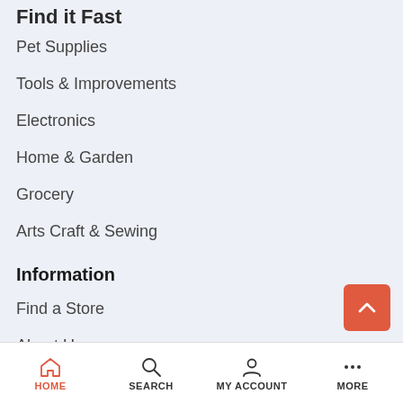Find it Fast
Pet Supplies
Tools & Improvements
Electronics
Home & Garden
Grocery
Arts Craft & Sewing
Information
Find a Store
About Us
Contact
Delivery information
HOME  SEARCH  MY ACCOUNT  MORE